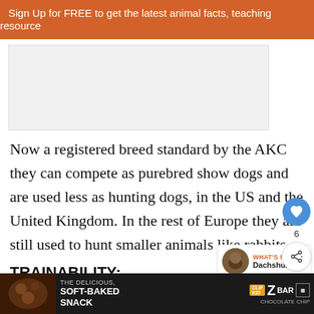Sign Up for FREE to get the latest animal facts, teaching resources
[Figure (other): Advertisement placeholder box (gray rectangle)]
Now a registered breed standard by the AKC they can compete as purebred show dogs and are used less as hunting dogs, in the US and the United Kingdom. In the rest of Europe they are still used to hunt smaller animals like rabbits.
TRAINABILITY:
Not easy! This hunting dog breed has a reputation for discipline.
[Figure (other): What's Next panel showing Dachshund breed thumbnail with orange arrow and text 'WHAT'S NEXT → Dachshund']
[Figure (other): Bottom advertisement banner for Clif Kid ZBar - The Delicious, Soft-Baked Snack - Chocolate Chip]